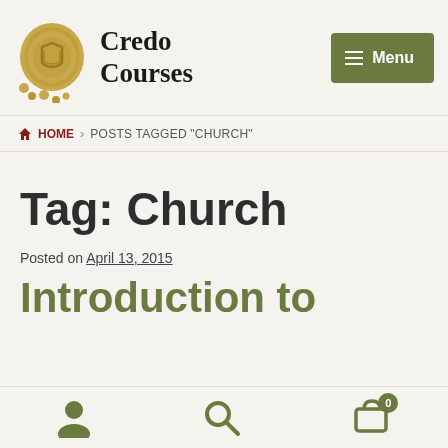Credo Courses — Menu
HOME > POSTS TAGGED "CHURCH"
Tag: Church
Posted on April 13, 2015
Introduction to